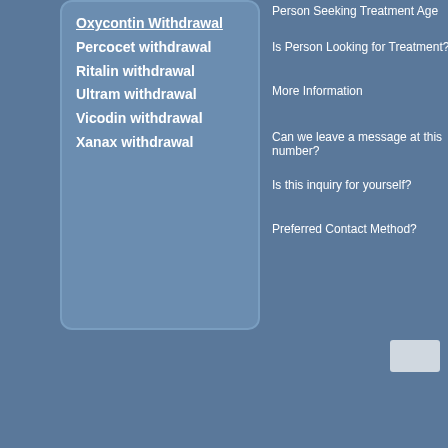Oxycontin withdrawal
Percocet withdrawal
Ritalin withdrawal
Ultram withdrawal
Vicodin withdrawal
Xanax withdrawal
Person Seeking Treatment Age
Is Person Looking for Treatment?
More Information
Can we leave a message at this number?
Is this inquiry for yourself?
Preferred Contact Method?
If you have attempted to stop and experienced withdrawal symptoms; this is very dangerous without treatment for these symptoms in Nyack. Most Alcohol Rehab use some type of procedure to help with uncomfortable symptoms of treating drug or alcohol addiction making it easier to function making it much more possible to cut out alcohol and cope with day to day life. Drug Rehab and Alcohol Rehabilitation for treatment of drug addiction and alcoholism in Nyack can be tough without assistance. Our Addiction Specialist will have our top Rehabilitation Facilities in Nyack contact you. A and Drug Rehab Center, call now and our Specialists will assist you.